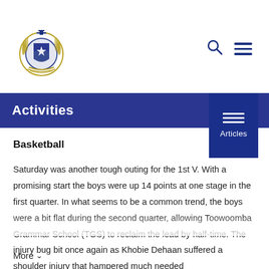[Figure (logo): School crest/logo with blue and gold heraldic design]
Activities
Basketball
Saturday was another tough outing for the 1st V. With a promising start the boys were up 14 points at one stage in the first quarter. In what seems to be a common trend, the boys were a bit flat during the second quarter, allowing Toowoomba Grammar School (TGS) to reclaim the lead by half-time. The injury bug bit once again as Khobie Dehaan suffered a shoulder injury that hampered much needed
More